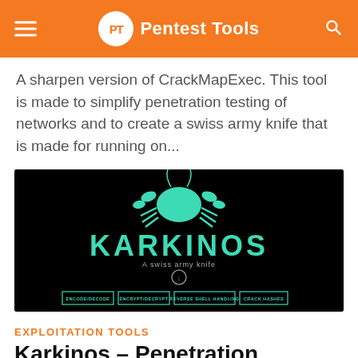PT Pentest Tools
A sharpen version of CrackMapExec. This tool is made to simplify penetration testing of networks and to create a swiss army knife that is made for running on...
[Figure (screenshot): Screenshot of the Karkinos tool webpage showing a crab logo, the title KARKINOS in teal, subtitle 'A swiss army knife', and four navigation buttons: ENCODE/DECODE, ENCRYPT/DECRYPT, REVERSE SHELL HANDLING, CRACK HASHES]
EXPLOITATION TOOLS
Karkinos – Penetration